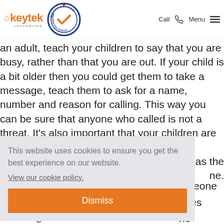keytek LOCKSMITHS | Recommended Vetted Monitored badge | Call | Menu
an adult, teach your children to say that you are busy, rather than that you are out. If your child is a bit older then you could get them to take a message, teach them to ask for a name, number and reason for calling. This way you can be sure that anyone who called is not a threat. It's also important that your children are taught not to give as the ne. omeone rules he f you ough the door, then you might want to consider installing
This website uses cookies to ensure you get the best experience on our website.
View our cookie policy.
Dismiss